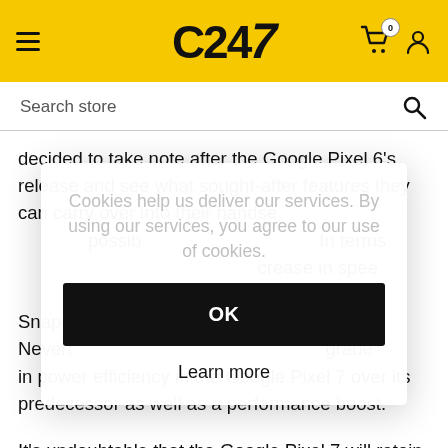C247 - store header with hamburger menu, logo, cart, and user icons
Search store
decided to take note after the Google Pixel 6's release and see what sought-after features they can carry over into their handsets. This meant that developers had every possibility to step things up. In terms of performance, there an increase in speed that is not as substantial as the jump from Snapdragon. Nevertheless, there is a significant upgrade in power efficiency in the Google Pixel 7 over its predecessor as well as a performance boost.
Cookies help us deliver our services. By using our services, you agree to our use of cookies.
OK
Learn more
It's undoubtable that the Google Pixel 7 will retain the same